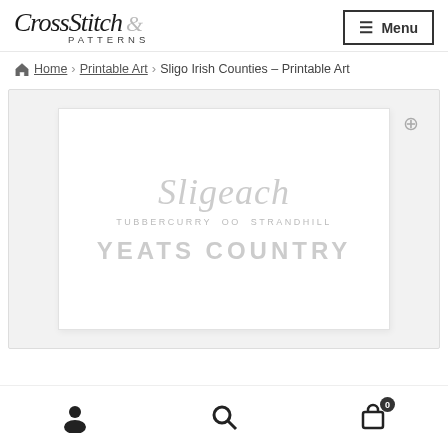CrossStitch & Patterns — Menu
Home > Printable Art > Sligo Irish Counties – Printable Art
[Figure (illustration): Product image showing printable art for Sligo Irish Counties. White card on light gray background with text: Sligeach (italic, light gray), TUBBERCURRY oo STRANDHILL, YEATS COUNTRY. Zoom icon in top right corner.]
User icon | Search icon | Cart icon (0)